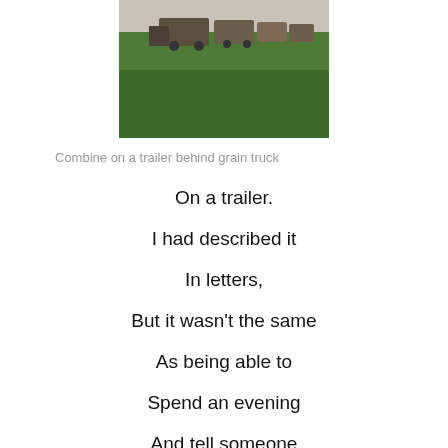[Figure (photo): Photograph of farm machinery (combines/harvesters) on a green field with a pale sky]
Combine on a trailer behind grain truck
On a trailer.
I had described it
In letters,
But it wasn't the same
As being able to
Spend an evening
And tell someone